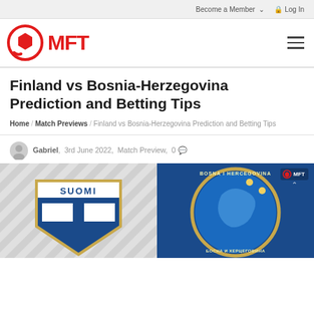Become a Member  Log In
[Figure (logo): MFT logo: red circle with hexagon inside, red bold MFT text]
Finland vs Bosnia-Herzegovina Prediction and Betting Tips
Home / Match Previews / Finland vs Bosnia-Herzegovina Prediction and Betting Tips
Gabriel, 3rd June 2022, Match Preview, 0
[Figure (photo): Featured image showing Finland national team crest (SUOMI badge) on the left with diagonal grey stripes background, and Bosnia-Herzegovina national team crest on the right with blue background. MFT logo watermark visible in top right corner of the image.]